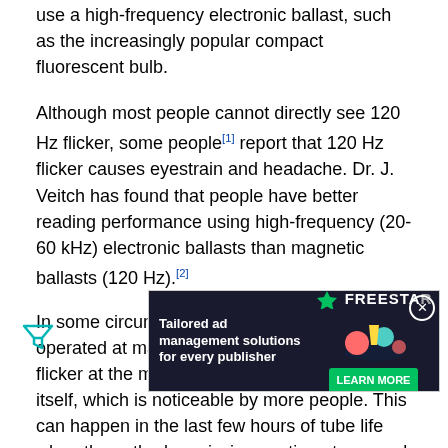use a high-frequency electronic ballast, such as the increasingly popular compact fluorescent bulb.
Although most people cannot directly see 120 Hz flicker, some people[1] report that 120 Hz flicker causes eyestrain and headache. Dr. J. Veitch has found that people have better reading performance using high-frequency (20-60 kHz) electronic ballasts than magnetic ballasts (120 Hz).[2]
In some circumstances, fluorescent lamps operated at mains frequency can also produce flicker at the mains frequency (50 or 60 Hz) itself, which is noticeable by more people. This can happen in the last few hours of tube life when the cathode emission coating at one end is almost run out, and that cathode starts having difficulty emitting enough electrons into the gas fill, resulting in slight rectification and hence uneven light output in positive and negative half cycles. The same phenomenon can also sometimes be seen in new fluorescent tubes, as a result of each tube electrode alternately